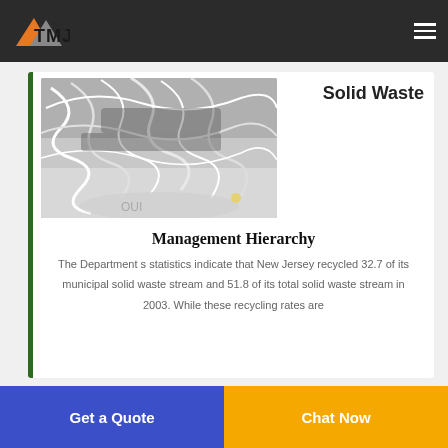[Figure (logo): TMJ company logo with orange and grey mountain/arrow shapes and bold TMJ text]
[Figure (photo): Black and white photo of tangled wires and cables with a bag in the background, representing solid waste]
Solid Waste
Management Hierarchy
The Department s statistics indicate that New Jersey recycled 32.7 of its municipal solid waste stream and 51.8 of its total solid waste stream in 2003. While these recycling rates are
Get a Quote | Chat Now